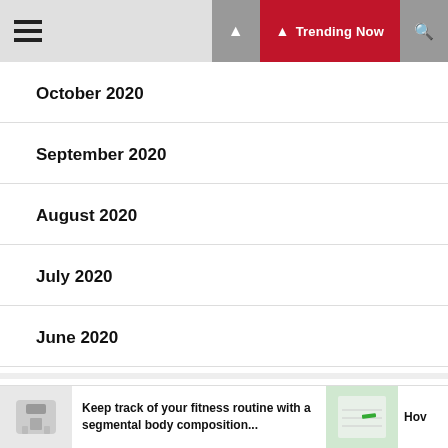☰ Trending Now 🔍
October 2020
September 2020
August 2020
July 2020
June 2020
Categories
Keep track of your fitness routine with a segmental body composition...
Hov